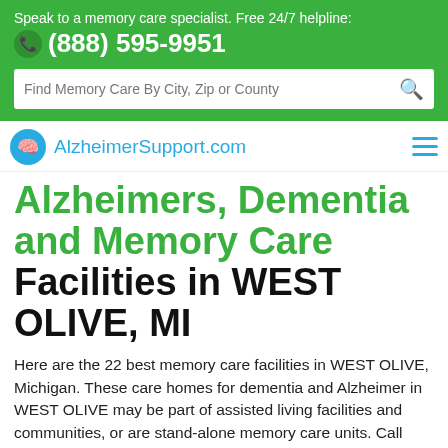Speak to a memory care specialist. Free 24/7 helpline: (888) 595-9951
[Figure (screenshot): Search bar with placeholder text: Find Memory Care By City, Zip or County]
AlzheimerSupport.com
Alzheimers, Dementia and Memory Care Facilities in WEST OLIVE, MI
Here are the 22 best memory care facilities in WEST OLIVE, Michigan. These care homes for dementia and Alzheimer in WEST OLIVE may be part of assisted living facilities and communities, or are stand-alone memory care units. Call 888-